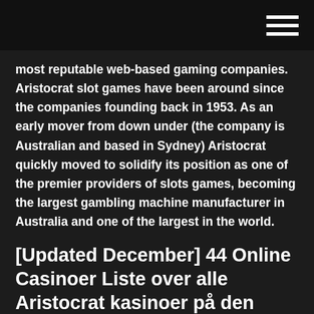most reputable web-based gaming companies. Aristocrat slot games have been around since the companies founding back in 1953. As an early mover from down under (the company is Australian and based in Sydney) Aristocrat quickly moved to solidify its position as one of the premier providers of slots games, becoming the largest gambling machine manufacturer in Australia and one of the largest in the world.
[Updated December] 44 Online Casinoer Liste over alle Aristocrat kasinoer på den beste gambling-siden norway-